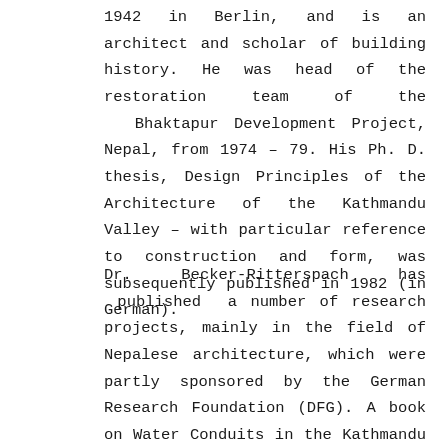1942 in Berlin, and is an architect and scholar of building history. He was head of the restoration team of the Bhaktapur Development Project, Nepal, from 1974 – 79. His Ph. D. thesis, Design Principles of the Architecture of the Kathmandu Valley – with particular reference to construction and form, was subsequently published in 1982 (in German).
Dr. Becker-Ritterspach has published a number of research projects, mainly in the field of Nepalese architecture, which were partly sponsored by the German Research Foundation (DFG). A book on Water Conduits in the Kathmandu Valley has mainly to be